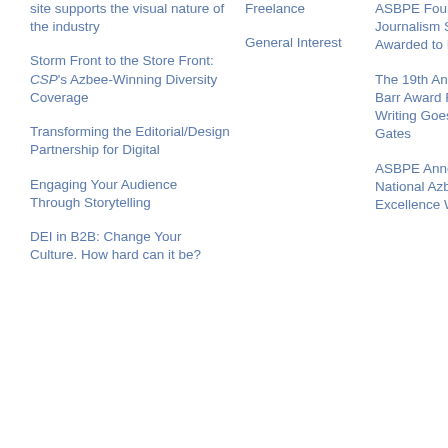site supports the visual nature of the industry
Storm Front to the Store Front: CSP's Azbee-Winning Diversity Coverage
Transforming the Editorial/Design Partnership for Digital
Engaging Your Audience Through Storytelling
DEI in B2B: Change Your Culture. How hard can it be?
Freelance
General Interest
ASBPE Foundation Business Journalism Scholarship Awarded to Emily Dreibelbis
The 19th Annual Stephen Barr Award For Feature Writing Goes to Megan Gates
ASBPE Announces the 2022 National Azbee Awards of Excellence Winners